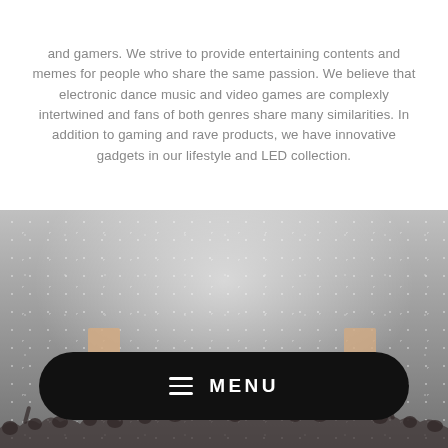and gamers. We strive to provide entertaining contents and memes for people who share the same passion. We believe that electronic dance music and video games are complexly intertwined and fans of both genres share many similarities. In addition to gaming and rave products, we have innovative gadgets in our lifestyle and LED collection.
[Figure (photo): Concert crowd scene with bright stage lights and confetti in the air, two stage monitor boxes visible, crowd silhouette at bottom. A large black pill-shaped MENU button with hamburger icon overlaid at the bottom of the image.]